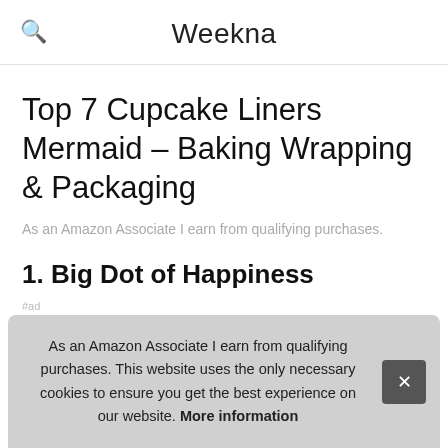Weekna
Top 7 Cupcake Liners Mermaid – Baking Wrapping & Packaging
As an Amazon Associate I earn from qualifying purchases.
1. Big Dot of Happiness
#ad
As an Amazon Associate I earn from qualifying purchases. This website uses the only necessary cookies to ensure you get the best experience on our website. More information